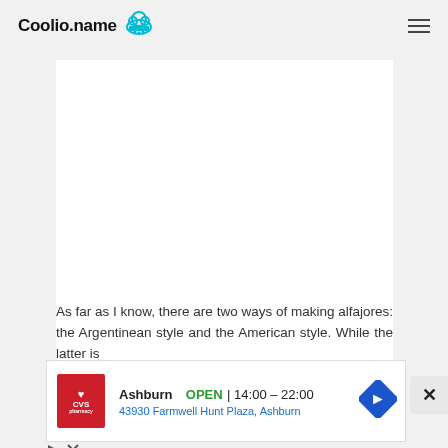Coolio.name
[Figure (other): White content/ad placeholder box]
As far as I know, there are two ways of making alfajores: the Argentinean style and the American style. While the latter is
[Figure (other): CVS Pharmacy advertisement banner showing Ashburn location, OPEN 14:00 - 22:00, 43930 Farmwell Hunt Plaza, Ashburn]